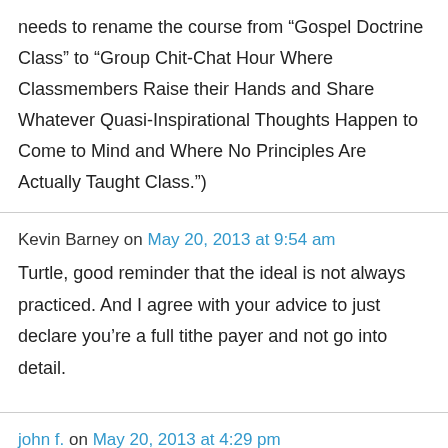needs to rename the course from “Gospel Doctrine Class” to “Group Chit-Chat Hour Where Classmembers Raise their Hands and Share Whatever Quasi-Inspirational Thoughts Happen to Come to Mind and Where No Principles Are Actually Taught Class.”)
Kevin Barney on May 20, 2013 at 9:54 am
Turtle, good reminder that the ideal is not always practiced. And I agree with your advice to just declare you’re a full tithe payer and not go into detail.
john f. on May 20, 2013 at 4:29 pm